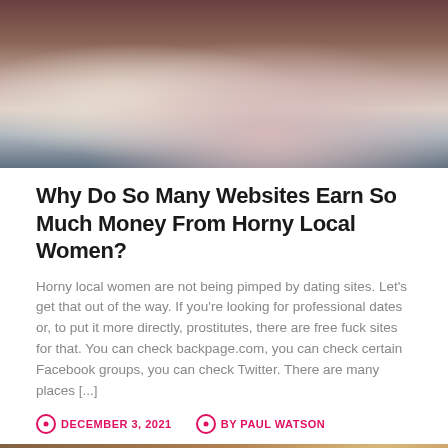[Figure (photo): Top cropped photo showing two people in an intimate embrace on a bed with brick wall background]
Why Do So Many Websites Earn So Much Money From Horny Local Women?
Horny local women are not being pimped by dating sites. Let's get that out of the way. If you're looking for professional dates or, to put it more directly, prostitutes, there are free fuck sites for that. You can check backpage.com, you can check certain Facebook groups, you can check Twitter. There are many places [...]
DECEMBER 3, 2021   BY PAUL WATSON
[Figure (photo): Bottom photo of a blonde woman with red nails holding a champagne glass]